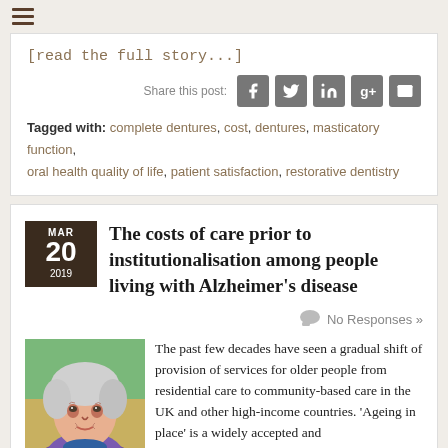[read the full story...]
Share this post:
Tagged with: complete dentures, cost, dentures, masticatory function, oral health quality of life, patient satisfaction, restorative dentistry
The costs of care prior to institutionalisation among people living with Alzheimer's disease
No Responses »
[Figure (illustration): Colorful painted portrait of an elderly woman with white hair, looking toward the viewer, painted in an impressionist style with vivid colors.]
The past few decades have seen a gradual shift of provision of services for older people from residential care to community-based care in the UK and other high-income countries. 'Ageing in place' is a widely accepted and